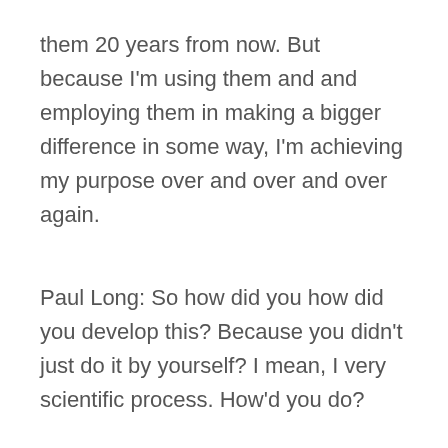them 20 years from now. But because I'm using them and and employing them in making a bigger difference in some way, I'm achieving my purpose over and over and over again.
Paul Long: So how did you how did you develop this? Because you didn't just do it by yourself? I mean, I very scientific process. How'd you do?
Alaina Love: I did. I worked with a team of